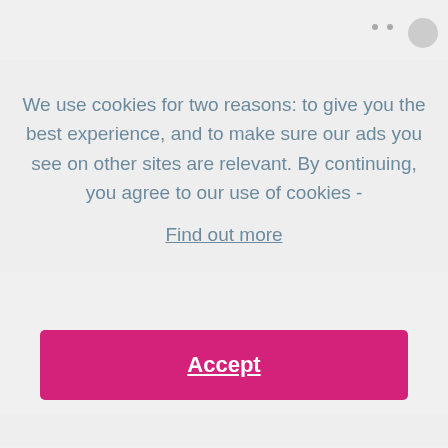We use cookies for two reasons: to give you the best experience, and to make sure our ads you see on other sites are relevant. By continuing, you agree to our use of cookies - Find out more
[Figure (screenshot): Accept cookie consent button — large pink/magenta button with white bold underlined text 'Accept']
[Figure (screenshot): Green 'ADD TO CART' button visible behind/below the cookie consent overlay]
Estimated Dispatch: 6